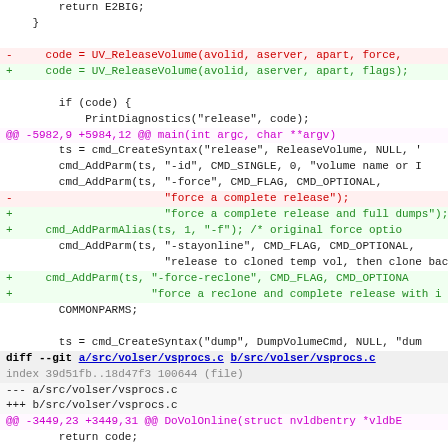code diff showing changes to UV_ReleaseVolume and related functions in volser source files
diff --git a/src/volser/vsprocs.c b/src/volser/vsprocs.c
index 39d51fb..18d47f3 100644 (file)
--- a/src/volser/vsprocs.c
+++ b/src/volser/vsprocs.c
@@ -3449,23 +3449,31 @@ DoVolOnline(struct nvldbentry *vldbE
        return code;
 }

 -/* UV_ReleaseVolume()